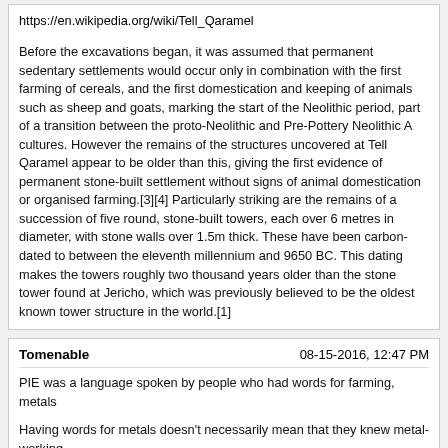https://en.wikipedia.org/wiki/Tell_Qaramel
Before the excavations began, it was assumed that permanent sedentary settlements would occur only in combination with the first farming of cereals, and the first domestication and keeping of animals such as sheep and goats, marking the start of the Neolithic period, part of a transition between the proto-Neolithic and Pre-Pottery Neolithic A cultures. However the remains of the structures uncovered at Tell Qaramel appear to be older than this, giving the first evidence of permanent stone-built settlement without signs of animal domestication or organised farming.[3][4] Particularly striking are the remains of a succession of five round, stone-built towers, each over 6 metres in diameter, with stone walls over 1.5m thick. These have been carbon-dated to between the eleventh millennium and 9650 BC. This dating makes the towers roughly two thousand years older than the stone tower found at Jericho, which was previously believed to be the oldest known tower structure in the world.[1]
Tomenable | 08-15-2016, 12:47 PM
PIE was a language spoken by people who had words for farming, metals
Having words for metals doesn't necessarily mean that they knew metal-working.
People who use only wood for building also have words for stones. ;) Stones and metals can be found in nature. For example you can find nuggets of gold in a river. So already primitive hunter-gatherers without any knowledge of metallurgy could have their own word for gold, as well as for other metals.
the plough, wheeled vehicles etc.
IIRC the Anatolian branch of IE languages had a different word for wheeled vehicles than other branches. So maybe Anatolian split from the rest of PIE before they learned about existence of wheeled vehicles. By the way, the oldest evidence of wheeled vehicles is the Bronocice pot from Central Europe: